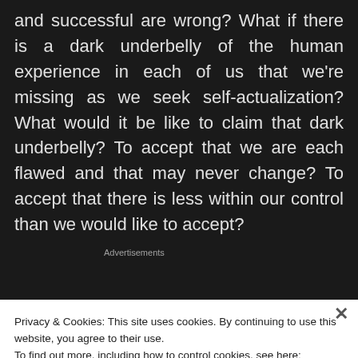and successful are wrong? What if there is a dark underbelly of the human experience in each of us that we're missing as we seek self-actualization? What would it be like to claim that dark underbelly? To accept that we are each flawed and that may never change? To accept that there is less within our control than we would like to accept?
[Figure (other): WordPress VIP advertisement banner with gradient orange/pink background, WordPress logo, 'vip' text, and 'Learn more →' button]
Privacy & Cookies: This site uses cookies. By continuing to use this website, you agree to their use.
To find out more, including how to control cookies, see here:
Cookie Policy
Close and accept